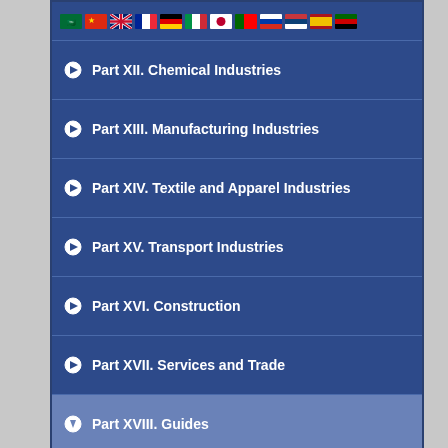[Figure (other): Row of country flags including Saudi Arabia, China, UK, France, Germany, Italy, Japan, Portugal, Russia, Serbia, Spain, Kenya]
Part XII. Chemical Industries
Part XIII. Manufacturing Industries
Part XIV. Textile and Apparel Industries
Part XV. Transport Industries
Part XVI. Construction
Part XVII. Services and Trade
Part XVIII. Guides
Guide to Occupations
Guide to Chemicals
Guide to Units and Abbreviations